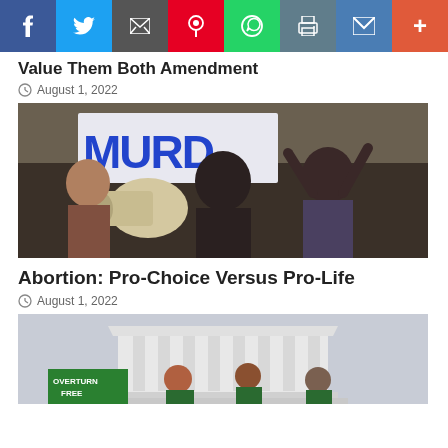[Figure (infographic): Social media share bar with Facebook (blue), Twitter (light blue), Email (dark gray), Pinterest (red), WhatsApp (green), Print (blue-gray), Gmail (blue), and More (+) (orange-red) buttons]
Value Them Both Amendment
August 1, 2022
[Figure (photo): Protesters at an abortion rights rally; woman in center shouting with megaphone, holding sign partially reading MURDER]
Abortion: Pro-Choice Versus Pro-Life
August 1, 2022
[Figure (photo): Protesters outside the U.S. Supreme Court building; woman crying, others holding green signs reading OVERTURN and FREE]